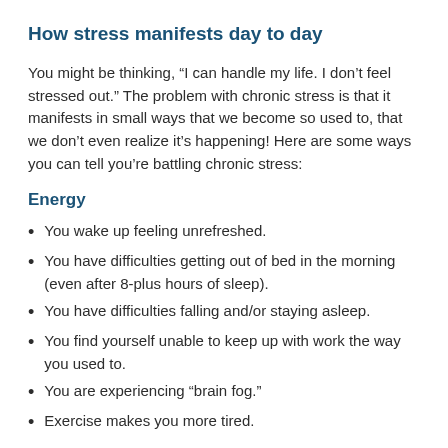How stress manifests day to day
You might be thinking, “I can handle my life. I don’t feel stressed out.” The problem with chronic stress is that it manifests in small ways that we become so used to, that we don’t even realize it’s happening! Here are some ways you can tell you’re battling chronic stress:
Energy
You wake up feeling unrefreshed.
You have difficulties getting out of bed in the morning (even after 8-plus hours of sleep).
You have difficulties falling and/or staying asleep.
You find yourself unable to keep up with work the way you used to.
You are experiencing “brain fog.”
Exercise makes you more tired.